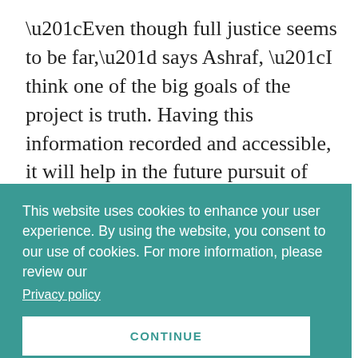“Even though full justice seems to be far,” says Ashraf, “I think one of the big goals of the project is truth. Having this information recorded and accessible, it will help in the future pursuit of truth.”
This website uses cookies to enhance your user experience. By using the website, you consent to our use of cookies. For more information, please review our
Privacy policy
CONTINUE